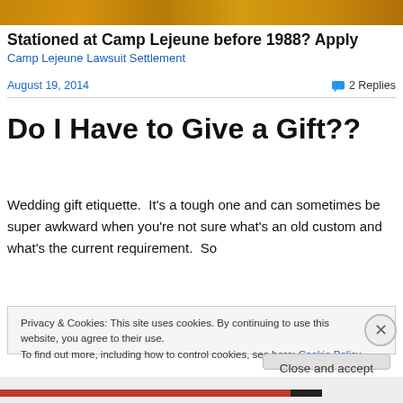[Figure (photo): Autumn foliage banner image at top of page]
Stationed at Camp Lejeune before 1988? Apply
Camp Lejeune Lawsuit Settlement
August 19, 2014
2 Replies
Do I Have to Give a Gift??
Wedding gift etiquette.  It's a tough one and can sometimes be super awkward when you're not sure what's an old custom and what's the current requirement.  So
Privacy & Cookies: This site uses cookies. By continuing to use this website, you agree to their use.
To find out more, including how to control cookies, see here: Cookie Policy
Close and accept